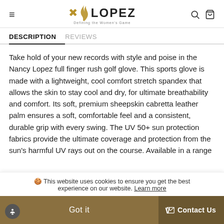LOPEZ — Defining the Women's Game
DESCRIPTION   REVIEWS
Take hold of your new records with style and poise in the Nancy Lopez full finger rush golf glove. This sports glove is made with a lightweight, cool comfort stretch spandex that allows the skin to stay cool and dry, for ultimate breathability and comfort. Its soft, premium sheepskin cabretta leather palm ensures a soft, comfortable feel and a consistent, durable grip with every swing. The UV 50+ sun protection fabrics provide the ultimate coverage and protection from the sun's harmful UV rays out on the course. Available in a range of vibrant colors and signature prints
🍪 This website uses cookies to ensure you get the best experience on our website. Learn more
Got it
✉ Contact Us